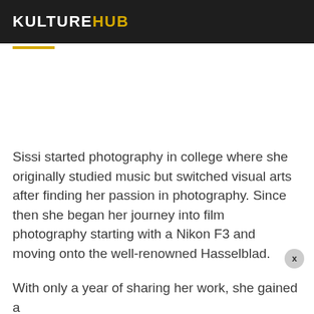KULTUREHUB
Sissi started photography in college where she originally studied music but switched visual arts after finding her passion in photography. Since then she began her journey into film photography starting with a Nikon F3 and moving onto the well-renowned Hasselblad.
With only a year of sharing her work, she gained a